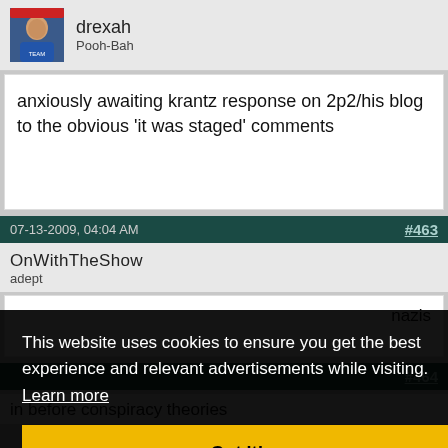[Figure (photo): Avatar photo of user drexah showing a person in sports jersey]
drexah
Pooh-Bah
anxiously awaiting krantz response on 2p2/his blog to the obvious 'it was staged' comments
07-13-2009, 04:04 AM
#463
OnWithTheShow
adept
nazis
#464
This website uses cookies to ensure you get the best experience and relevant advertisements while visiting.  Learn more
Got it!
in before conspiracy theories